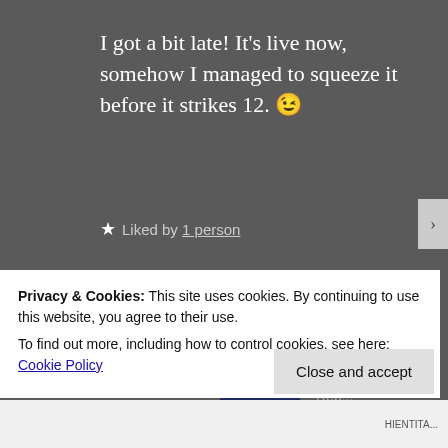I got a bit late! It's live now, somehow I managed to squeeze it before it strikes 12. 😉
★ Liked by 1 person
Harsh
September 9, 2020
Privacy & Cookies: This site uses cookies. By continuing to use this website, you agree to their use.
To find out more, including how to control cookies, see here: Cookie Policy
Close and accept